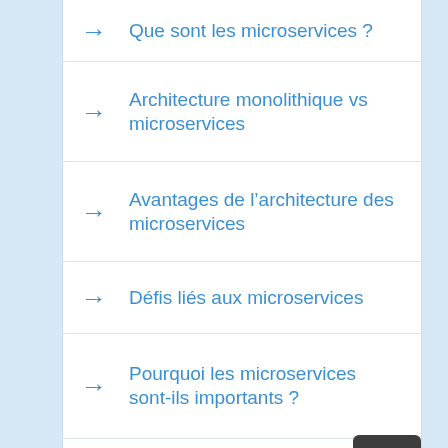Que sont les microservices ?
Architecture monolithique vs microservices
Avantages de l'architecture des microservices
Défis liés aux microservices
Pourquoi les microservices sont-ils importants ?
Meilleures pratiques pour la conception de microservices